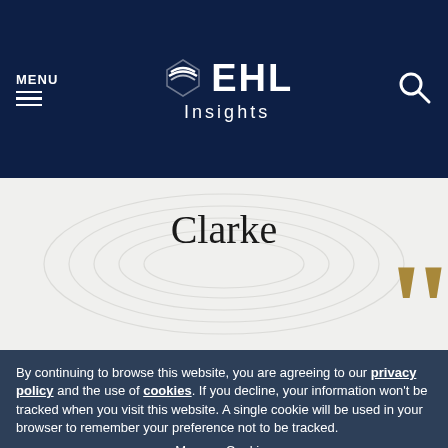MENU | EHL Insights
Clarke
[Figure (illustration): Decorative swirl/circular pattern in light gray on off-white background, with large gold quotation marks partially visible on right side]
By continuing to browse this website, you are agreeing to our privacy policy and the use of cookies. If you decline, your information won't be tracked when you visit this website. A single cookie will be used in your browser to remember your preference not to be tracked.
Manage Cookies
Accept All
Decline All